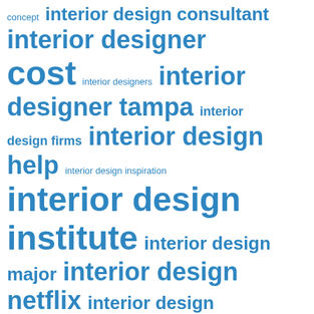[Figure (infographic): Word cloud of interior design related search terms in various font sizes, all in blue color on white background. Larger text indicates higher search volume/frequency. Terms include: concept, interior design consultant, interior designer, cost, interior designers, interior designer tampa, interior, design firms, interior design help, interior design inspiration, interior design institute, interior design major, interior design netflix, interior design pay, interior design philadelphia, interior design pictures, interior design price, interior design process, interior design seattle, interior design sketches, interior design software, interior design styles, interior design utah, kitchen interior design, maximalist interior design, minecraft interior design]